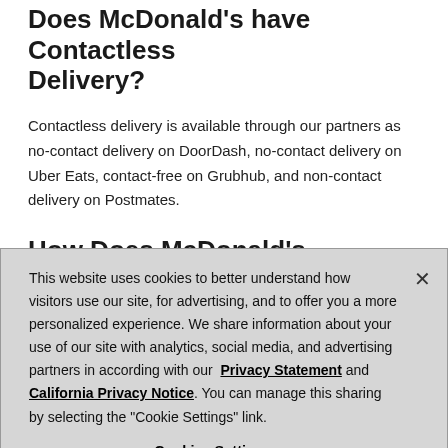Does McDonald's have Contactless Delivery?
Contactless delivery is available through our partners as no-contact delivery on DoorDash, no-contact delivery on Uber Eats, contact-free on Grubhub, and non-contact delivery on Postmates.
How Does McDonald's Curbside Pickup Work?
This website uses cookies to better understand how visitors use our site, for advertising, and to offer you a more personalized experience. We share information about your use of our site with analytics, social media, and advertising partners in according with our Privacy Statement and California Privacy Notice. You can manage this sharing by selecting the "Cookie Settings" link.
Cookies Settings